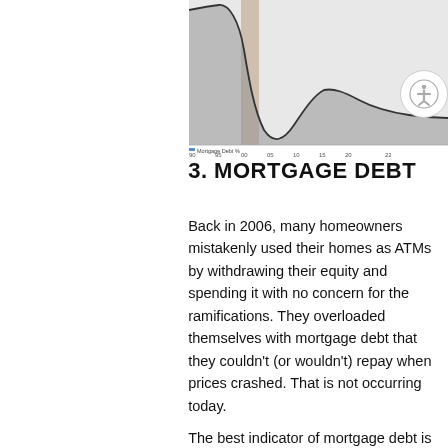[Figure (continuous-plot): A line/area chart showing mortgage debt data over time, with a highlighted vertical band around 2006 era. The chart shows a rise and sharp fall in the metric over several decades.]
3. MORTGAGE DEBT
Back in 2006, many homeowners mistakenly used their homes as ATMs by withdrawing their equity and spending it with no concern for the ramifications. They overloaded themselves with mortgage debt that they couldn't (or wouldn't) repay when prices crashed. That is not occurring today.
The best indicator of mortgage debt is the Federal Reserve